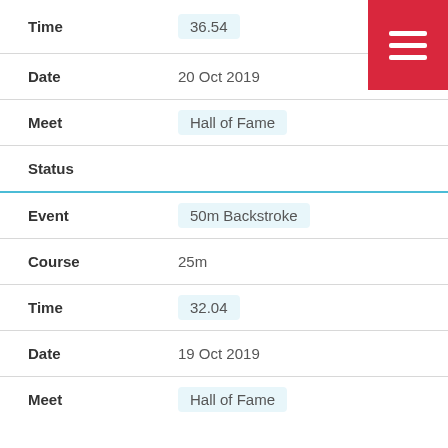Time: 36.54
Date: 20 Oct 2019
Meet: Hall of Fame
Status
Event: 50m Backstroke
Course: 25m
Time: 32.04
Date: 19 Oct 2019
Meet: Hall of Fame